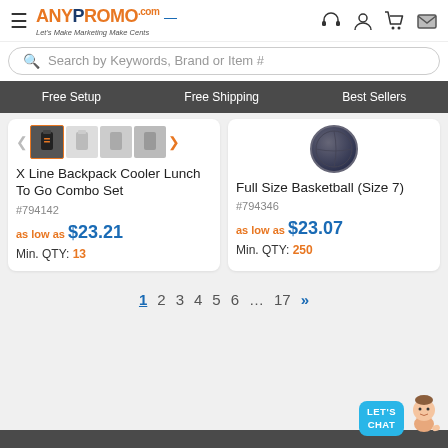AnyPromo.com — Let's Make Marketing Make Cents
Search by Keywords, Brand or Item #
Free Setup | Free Shipping | Best Sellers
X Line Backpack Cooler Lunch To Go Combo Set
#794142
as low as $23.21
Min. QTY: 13
Full Size Basketball (Size 7)
#794346
as low as $23.07
Min. QTY: 250
1 2 3 4 5 6 … 17 »